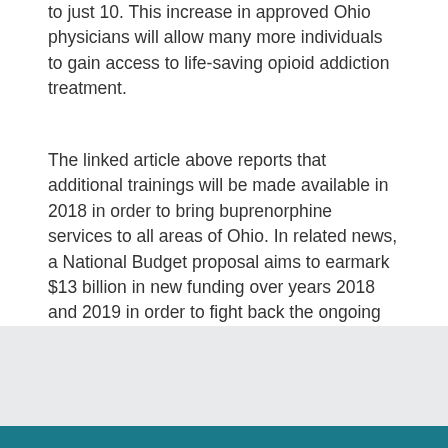to just 10. This increase in approved Ohio physicians will allow many more individuals to gain access to life-saving opioid addiction treatment.
The linked article above reports that additional trainings will be made available in 2018 in order to bring buprenorphine services to all areas of Ohio. In related news, a National Budget proposal aims to earmark $13 billion in new funding over years 2018 and 2019 in order to fight back the ongoing opioid crisis. How much money is ultimately allocated for this purpose will be determined by Congress.